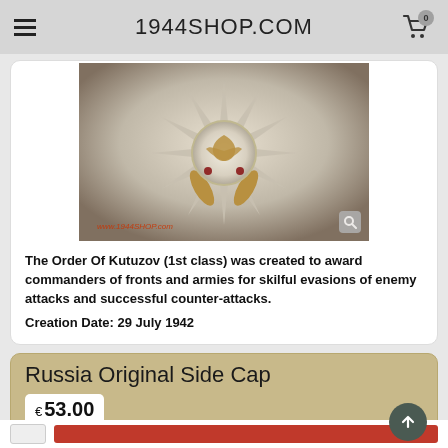1944SHOP.COM
[Figure (photo): Close-up photograph of the Order of Kutuzov 1st class medal/decoration — a star-shaped silver and gold military medal with an eagle motif. Watermark reads www.1944SHOP.com]
The Order Of Kutuzov (1st class) was created to award commanders of fronts and armies for skilful evasions of enemy attacks and successful counter-attacks. Creation Date: 29 July 1942
Russia Original Side Cap
€ 53.00